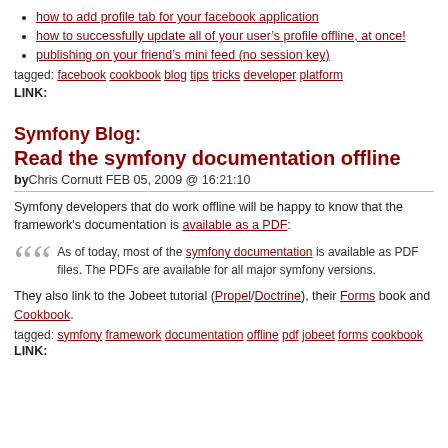how to add profile tab for your facebook application
how to successfully update all of your user’s profile offline, at once!
publishing on your friend’s mini feed (no session key)
tagged: facebook cookbook blog tips tricks developer platform
LINK:
Symfony Blog:
Read the symfony documentation offline
byChris Cornutt FEB 05, 2009 @ 16:21:10
Symfony developers that do work offline will be happy to know that the framework's documentation is available as a PDF:
As of today, most of the symfony documentation is available as PDF files. The PDFs are available for all major symfony versions.
They also link to the Jobeet tutorial (Propel/Doctrine), their Forms book and Cookbook.
tagged: symfony framework documentation offline pdf jobeet forms cookbook
LINK: